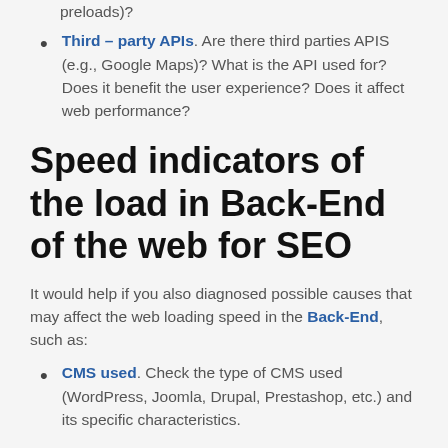preloads)?
Third – party APIs. Are there third parties APIS (e.g., Google Maps)? What is the API used for? Does it benefit the user experience? Does it affect web performance?
Speed indicators of the load in Back-End of the web for SEO
It would help if you also diagnosed possible causes that may affect the web loading speed in the Back-End, such as:
CMS used. Check the type of CMS used (WordPress, Joomla, Drupal, Prestashop, etc.) and its specific characteristics.